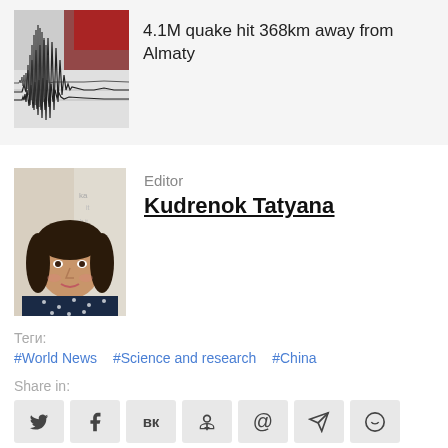[Figure (photo): Seismograph earthquake waveform image]
4.1M quake hit 368km away from Almaty
[Figure (photo): Photo of editor Kudrenok Tatyana]
Editor
Kudrenok Tatyana
Теги:
#World News   #Science and research   #China
Share in:
Social share icons: Twitter, Facebook, VK, Odnoklassniki, Email, Telegram, WhatsApp